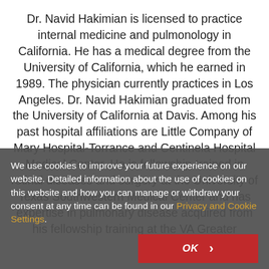Dr. Navid Hakimian is licensed to practice internal medicine and pulmonology in California. He has a medical degree from the University of California, which he earned in 1989. The physician currently practices in Los Angeles. Dr. Navid Hakimian graduated from the University of California at Davis. Among his past hospital affiliations are Little Company of Mary Hospital-Torrance and Centinela Hospital Medical Center. He is fellowship-trained in retinal diseases and surgery at the University of Texas Southwestern Medical Center and has expertise in pulmonary disease acquired from his fellowship training at the VA Greater
We use cookies to improve your future experience on our website. Detailed information about the use of cookies on this website and how you can manage or withdraw your consent at any time can be found in our Privacy and Cookie Settings.